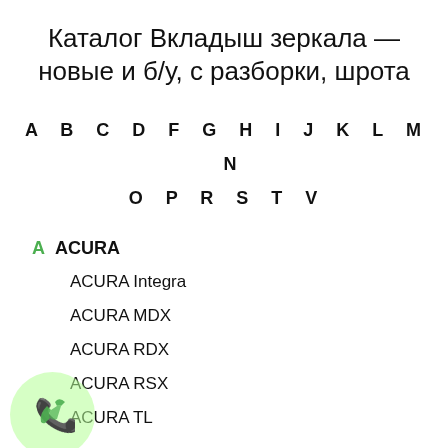Каталог Вкладыш зеркала — новые и б/у, с разборки, шрота
A  B  C  D  F  G  H  I  J  K  L  M  N
O  P  R  S  T  V
A  ACURA
ACURA Integra
ACURA MDX
ACURA RDX
ACURA RSX
ACURA TL